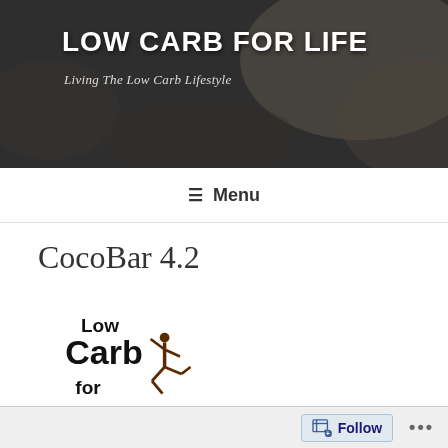LOW CARB FOR LIFE — Living The Low Carb Lifestyle
CocoBar 4.2
[Figure (logo): Low Carb for Life logo — bold black text with a jumping silhouette figure]
It's rare these days that I get an urge for a past treat but it was a rainy Sunday afternoon and I decided to pass the time by raiding my cupboard and